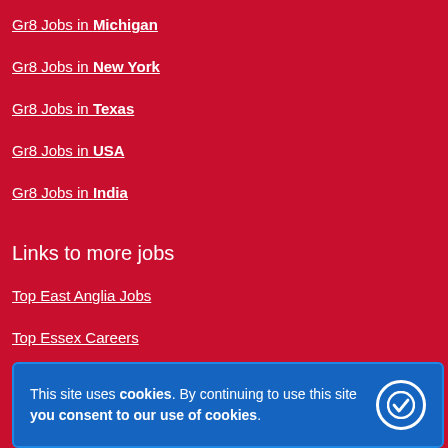Gr8 Jobs in Michigan
Gr8 Jobs in New York
Gr8 Jobs in Texas
Gr8 Jobs in USA
Gr8 Jobs in India
Links to more jobs
Top East Anglia Jobs
Top Essex Careers
Top Norfolk Careers
Top Cambridge Careers
This site uses cookies. By continuing to use this site you consent to our use of cookies.